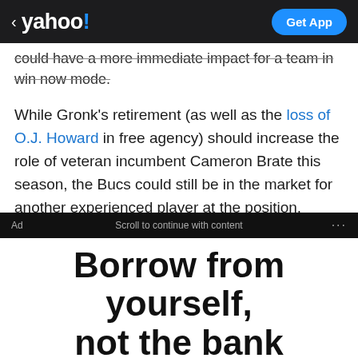< yahoo! Get App
could have a more immediate impact for a team in win now mode.
While Gronk's retirement (as well as the loss of O.J. Howard in free agency) should increase the role of veteran incumbent Cameron Brate this season, the Bucs could still be in the market for another experienced player at the position.
Ad  Scroll to continue with content  ...
Borrow from yourself, not the bank
How much do you need?